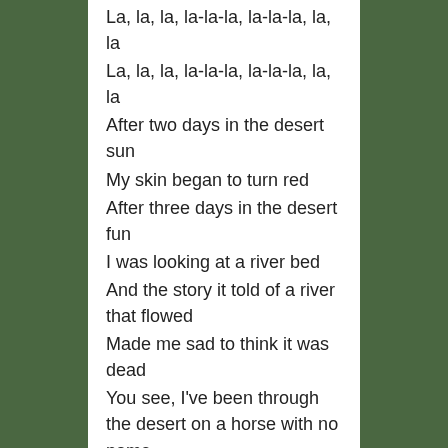La, la, la, la-la-la, la-la-la, la, la
La, la, la, la-la-la, la-la-la, la, la
After two days in the desert sun
My skin began to turn red
After three days in the desert fun
I was looking at a river bed
And the story it told of a river that flowed
Made me sad to think it was dead
You see, I've been through the desert on a horse with no name
It felt good to be out of the rain
In the desert you can remember your name
'Cause there ain't no one for to give